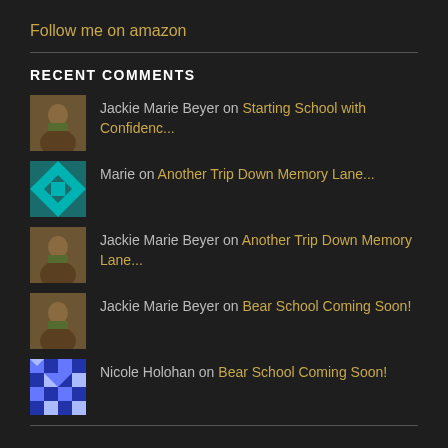Follow me on amazon
RECENT COMMENTS
Jackie Marie Beyer on Starting School with Confidenc...
Marie on Another Trip Down Memory Lane...
Jackie Marie Beyer on Another Trip Down Memory Lane...
Jackie Marie Beyer on Bear School Coming Soon!
Nicole Holohan on Bear School Coming Soon!